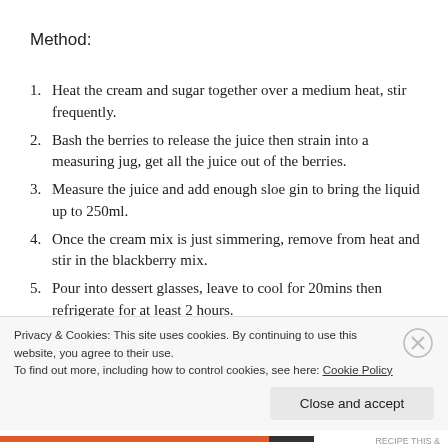Method:
Heat the cream and sugar together over a medium heat, stir frequently.
Bash the berries to release the juice then strain into a measuring jug, get all the juice out of the berries.
Measure the juice and add enough sloe gin to bring the liquid up to 250ml.
Once the cream mix is just simmering, remove from heat and stir in the blackberry mix.
Pour into dessert glasses, leave to cool for 20mins then refrigerate for at least 2 hours.
Privacy & Cookies: This site uses cookies. By continuing to use this website, you agree to their use.
To find out more, including how to control cookies, see here: Cookie Policy
Close and accept